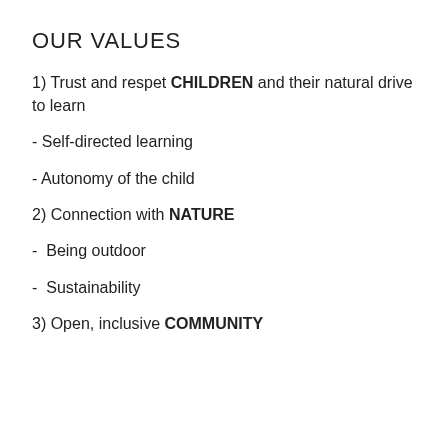OUR VALUES
1) Trust and respet CHILDREN and their natural drive to learn
- Self-directed learning
- Autonomy of the child
2) Connection with NATURE
-  Being outdoor
-  Sustainability
3) Open, inclusive COMMUNITY